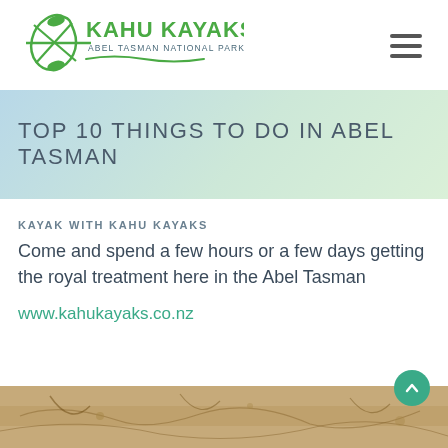[Figure (logo): Kahu Kayaks Abel Tasman National Park logo — green kayak paddle crossed with leaf/fish shape, text 'KAHU KAYAKS' in large green letters, 'ABEL TASMAN NATIONAL PARK' in smaller dark teal letters below, with wave underline]
TOP 10 THINGS TO DO IN ABEL TASMAN
KAYAK WITH KAHU KAYAKS
Come and spend a few hours or a few days getting the royal treatment here in the Abel Tasman
www.kahukayaks.co.nz
[Figure (photo): Partial photo at bottom of page showing sandy/rocky ground texture]